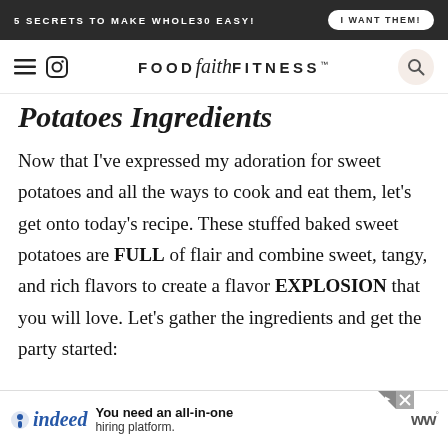5 SECRETS TO MAKE WHOLE30 EASY! | I WANT THEM!
FOOD faith FITNESS™
Potatoes Ingredients
Now that I've expressed my adoration for sweet potatoes and all the ways to cook and eat them, let's get onto today's recipe. These stuffed baked sweet potatoes are FULL of flair and combine sweet, tangy, and rich flavors to create a flavor EXPLOSION that you will love. Let's gather the ingredients and get the party started:
[Figure (screenshot): Indeed advertisement banner: 'You need an all-in-one hiring platform.']